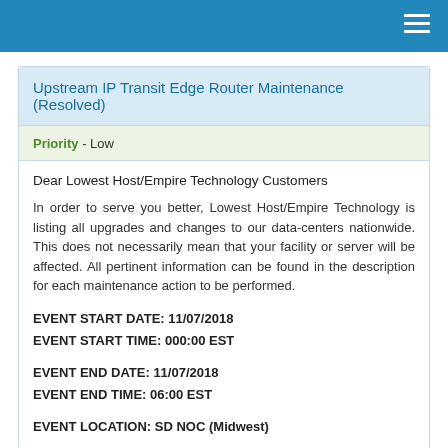Upstream IP Transit Edge Router Maintenance (Resolved)
Priority - Low
Dear Lowest Host/Empire Technology Customers
In order to serve you better, Lowest Host/Empire Technology is listing all upgrades and changes to our data-centers nationwide. This does not necessarily mean that your facility or server will be affected. All pertinent information can be found in the description for each maintenance action to be performed.
EVENT START DATE: 11/07/2018
EVENT START TIME: 000:00 EST
EVENT END DATE: 11/07/2018
EVENT END TIME: 06:00 EST
EVENT LOCATION: SD NOC (Midwest)